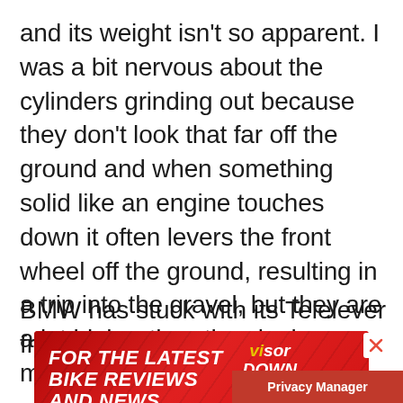and its weight isn't so apparent. I was a bit nervous about the cylinders grinding out because they don't look that far off the ground and when something solid like an engine touches down it often levers the front wheel off the ground, resulting in a trip into the gravel, but they are a lot higher than they look, mainly due to the suspension.
BMW has stuck with its Telelever fron
[Figure (screenshot): Advertisement banner for Visordown YouTube channel. Red background with white italic bold text reading 'FOR THE LATEST BIKE REVIEWS AND NEWS' on the left, Visordown logo with yellow 'vi' on the right, YouTube play button and 'YouTube' text. A close (X) button appears in the top-right corner of the ad. A 'Privacy Manager' button appears in the bottom-right corner of the page.]